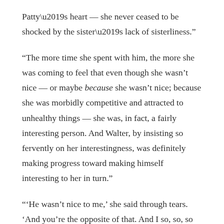Patty’s heart — she never ceased to be shocked by the sister’s lack of sisterliness.”
“The more time she spent with him, the more she was coming to feel that even though she wasn’t nice — or maybe because she wasn’t nice; because she was morbidly competitive and attracted to unhealthy things — she was, in fact, a fairly interesting person. And Walter, by insisting so fervently on her interestingness, was definitely making progress toward making himself interesting to her in turn.”
“‘He wasn’t nice to me,’ she said through tears. ‘And you’re the opposite of that. And I so, so, so need the opposite of that right now. Can you please be nice?’ ‘I can be nice,’ he said, stroking her head.”